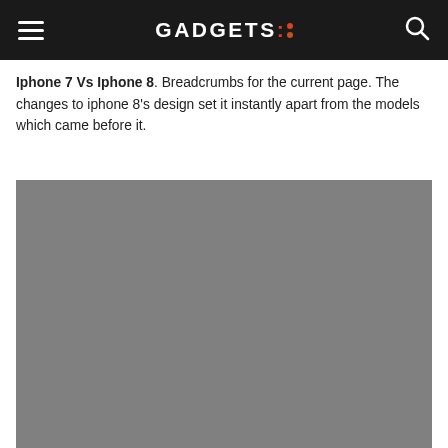GADGETS:
Iphone 7 Vs Iphone 8. Breadcrumbs for the current page. The changes to iphone 8's design set it instantly apart from the models which came before it.
[Figure (photo): Gray placeholder image block occupying the lower portion of the page]